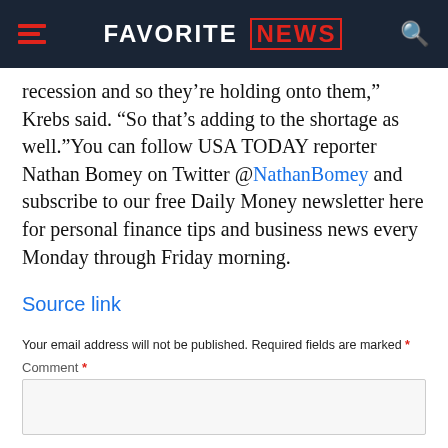FAVORITE NEWS
recession and so they’re holding onto them,” Krebs said. “So that’s adding to the shortage as well.”You can follow USA TODAY reporter Nathan Bomey on Twitter @NathanBomey and subscribe to our free Daily Money newsletter here for personal finance tips and business news every Monday through Friday morning.
Source link
Your email address will not be published. Required fields are marked *
Comment *